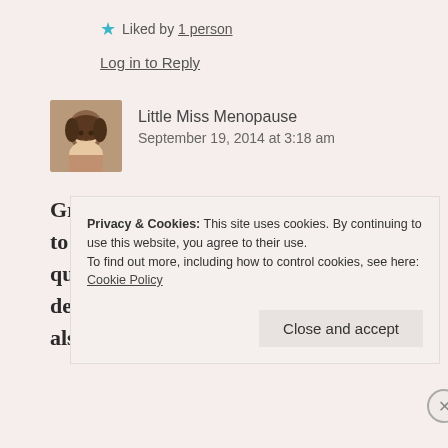★ Liked by 1 person
Log in to Reply
Little Miss Menopause
September 19, 2014 at 3:18 am
Grace, my sincerest apologies. I need to come back to this when I have the quality time to give it because it truly deserves my complete attention. And also,
Privacy & Cookies: This site uses cookies. By continuing to use this website, you agree to their use.
To find out more, including how to control cookies, see here: Cookie Policy
Close and accept